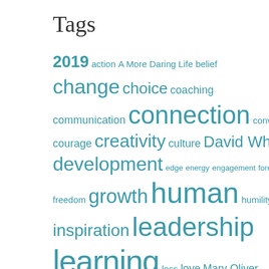Tags
2019 action A More Daring Life belief change choice coaching communication connection conversation courage creativity culture David Whyte development edge energy engagement forest freedom growth human humility inspiration leadership learning loss love Mary Oliver meaning motivation movement nature play poem Poetry possibility